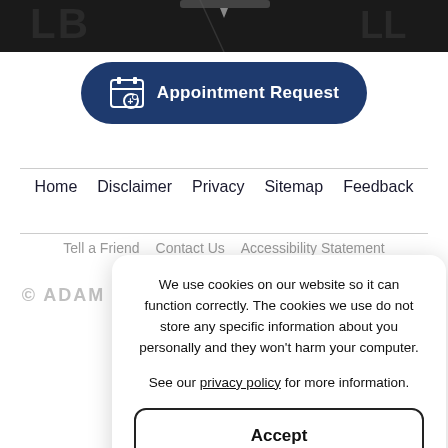[Figure (screenshot): Dark top banner with decorative background]
Appointment Request (button)
Home   Disclaimer   Privacy   Sitemap   Feedback
Tell a Friend   Contact Us   Accessibility Statement
© ADAM G. BROOKS, MD, FAAOS, QME
Powered by Physician Online
We use cookies on our website so it can function correctly. The cookies we use do not store any specific information about you personally and they won't harm your computer.

See our privacy policy for more information.
Accept